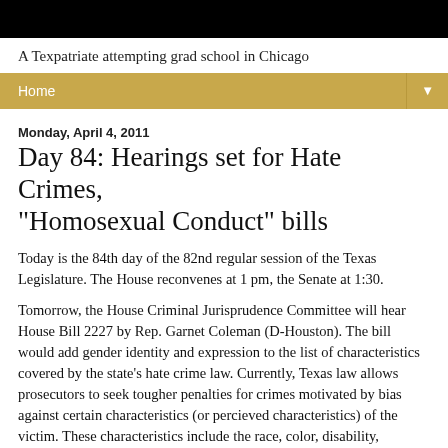A Texpatriate attempting grad school in Chicago
Home
Monday, April 4, 2011
Day 84: Hearings set for Hate Crimes, "Homosexual Conduct" bills
Today is the 84th day of the 82nd regular session of the Texas Legislature. The House reconvenes at 1 pm, the Senate at 1:30.
Tomorrow, the House Criminal Jurisprudence Committee will hear House Bill 2227 by Rep. Garnet Coleman (D-Houston). The bill would add gender identity and expression to the list of characteristics covered by the state’s hate crime law. Currently, Texas law allows prosecutors to seek tougher penalties for crimes motivated by bias against certain characteristics (or percieved characteristics) of the victim. These characteristics include the race, color, disability, religion, national origin or ancestry, age,